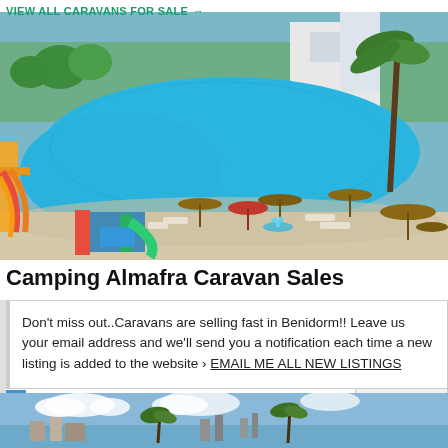VIEW ALL CARAVANS FOR SALE →
[Figure (photo): Aerial view of a resort-style swimming pool complex with water slides, palm trees, beach umbrellas, loungers, and a playground area. Blue pool water with sandy/stone surrounds.]
Camping Almafra Caravan Sales
Don't miss out..Caravans are selling fast in Benidorm!! Leave us your email address and we'll send you a notification each time a new listing is added to the website › EMAIL ME ALL NEW LISTINGS
No thanks
[Figure (photo): Partial view of a coastal or resort landscape with palm trees and buildings, blue sky with clouds.]